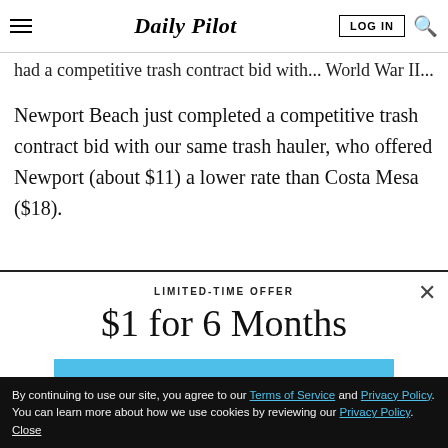Daily Pilot
had a competitive trash contract bid with... (truncated)
Newport Beach just completed a competitive trash contract bid with our same trash hauler, who offered Newport (about $11) a lower rate than Costa Mesa ($18).
LIMITED-TIME OFFER
$1 for 6 Months
SUBSCRIBE NOW
By continuing to use our site, you agree to our Terms of Service and Privacy Policy. You can learn more about how we use cookies by reviewing our Privacy Policy. Close
Already a Subscriber? LOG IN